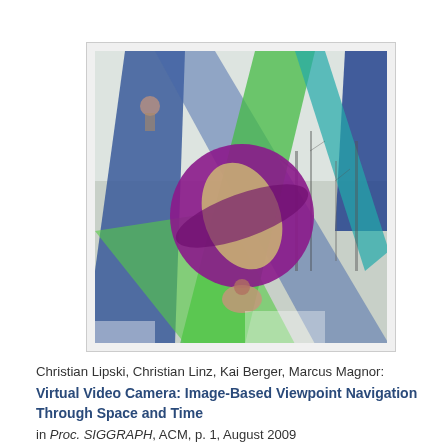[Figure (illustration): A computer vision / graphics illustration showing a 3D scene with blue, green, and purple/violet geometric planes and a large magenta/purple sphere overlaid on a real outdoor scene with trees and snow. Colored frustum-like shapes (blue, green, teal) emanate from multiple camera viewpoints.]
Christian Lipski, Christian Linz, Kai Berger, Marcus Magnor:
Virtual Video Camera: Image-Based Viewpoint Navigation Through Space and Time
in Proc. SIGGRAPH, ACM, p. 1, August 2009